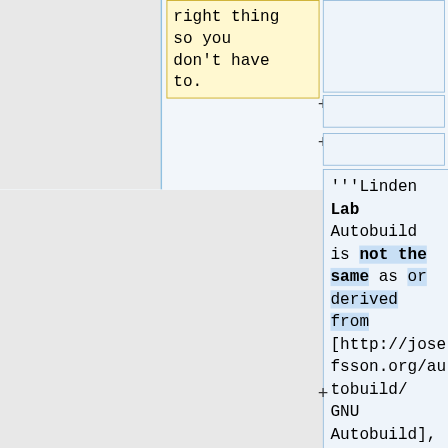right thing
so you
don't have
to.
+
+
'''Linden Lab Autobuild is not the same as or derived from [http://josefsson.org/autobuild/ GNU Autobuild], but they are similar
+